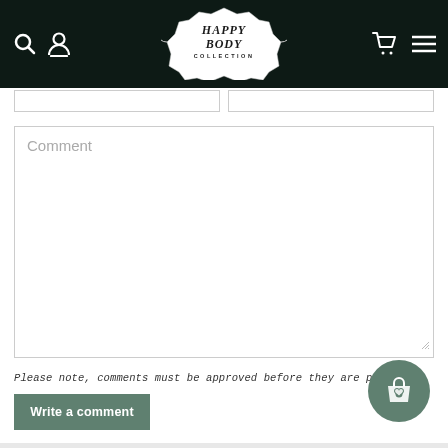[Figure (logo): Happy Body Collection logo in ornate badge frame on dark header with navigation icons (search, user, cart, menu)]
Comment
Please note, comments must be approved before they are published
Write a comment